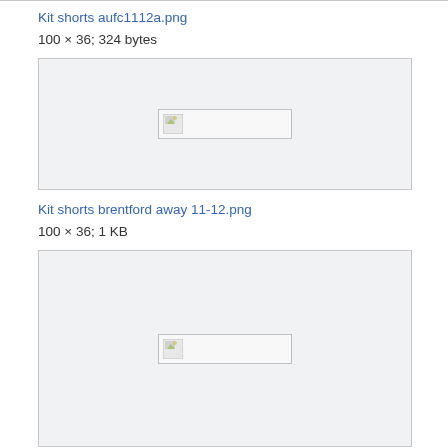Kit shorts aufc1112a.png
100 × 36; 324 bytes
[Figure (photo): Broken image placeholder for Kit shorts aufc1112a.png]
Kit shorts brentford away 11-12.png
100 × 36; 1 KB
[Figure (photo): Broken image placeholder for Kit shorts brentford away 11-12.png]